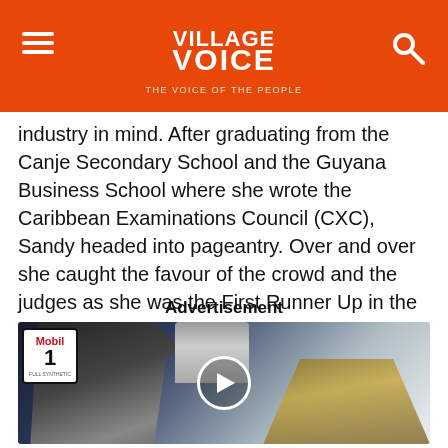Village Voice — The Voice of the People
industry in mind. After graduating from the Canje Secondary School and the Guyana Business School where she wrote the Caribbean Examinations Council (CXC), Sandy headed into pageantry. Over and over she caught the favour of the crowd and the judges as she was the First Runner Up in the Miss Region Six Pageant and the Miss Berbice Mash Queen.
Advertisement
[Figure (photo): Mobil 1 motor oil advertisement with a video play button overlay, showing a bottle of Mobil 1 oil being poured.]